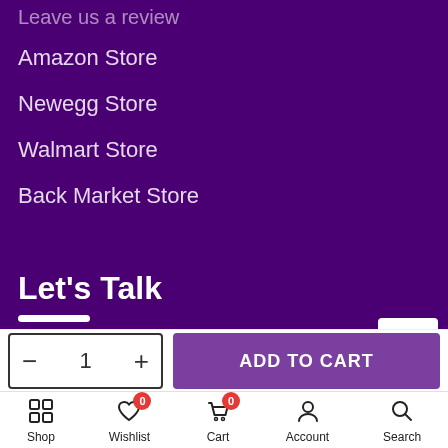Leave us a review
Amazon Store
Newegg Store
Walmart Store
Back Market Store
Let's Talk
720-251-8173
support@your-epower.com
ADD TO CART